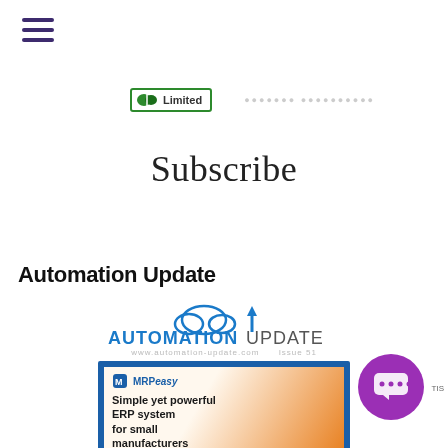[Figure (illustration): Hamburger menu icon with three horizontal dark purple lines]
[Figure (logo): Company logo badge with green leaf icon and 'Limited' text, plus faded text logo to the right]
Subscribe
Automation Update
[Figure (screenshot): Automation Update publication logo with cloud/arrow icon above text 'AUTOMATION UPDATE', website URL below, and MRPeasy advertisement showing 'Simple yet powerful ERP system for small manufacturers' with blue border and worker graphic]
[Figure (illustration): Purple circular chat bubble button with four dots, positioned in bottom right corner]